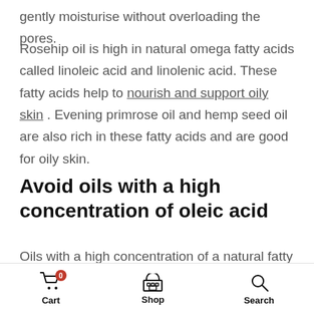gently moisturise without overloading the pores.
Rosehip oil is high in natural omega fatty acids called linoleic acid and linolenic acid. These fatty acids help to nourish and support oily skin . Evening primrose oil and hemp seed oil are also rich in these fatty acids and are good for oily skin.
Avoid oils with a high concentration of oleic acid
Oils with a high concentration of a natural fatty acid called oleic acid are not recommended for oily skin. Thi...
Cart  Shop  Search